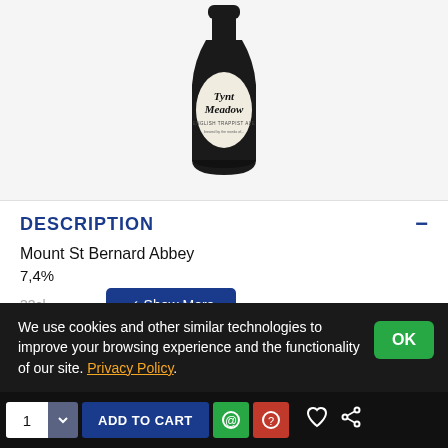[Figure (photo): Dark bottle of Tynt Meadow English Trappist Ale with black cap and cream label showing medieval-style lettering]
DESCRIPTION
Mount St Bernard Abbey
7,4%
33cl
We use cookies and other similar technologies to improve your browsing experience and the functionality of our site. Privacy Policy.
REVIEWS
ADD TO CART